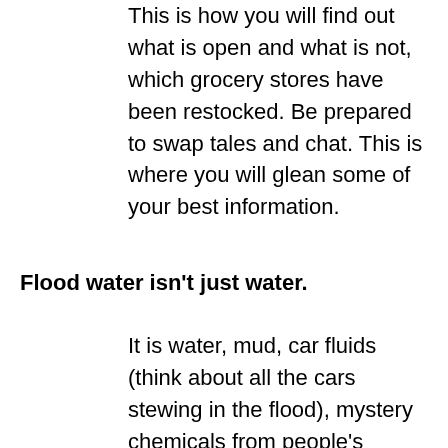This is how you will find out what is open and what is not, which grocery stores have been restocked. Be prepared to swap tales and chat. This is where you will glean some of your best information.
Flood water isn't just water.
It is water, mud, car fluids (think about all the cars stewing in the flood), mystery chemicals from people's garages, and worse, mystery chemicals from businesses